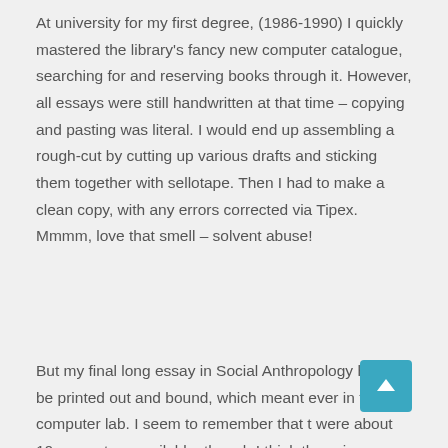At university for my first degree, (1986-1990) I quickly mastered the library's fancy new computer catalogue, searching for and reserving books through it. However, all essays were still handwritten at that time – copying and pasting was literal. I would end up assembling a rough-cut by cutting up various drafts and sticking them together with sellotape. Then I had to make a clean copy, with any errors corrected via Tipex. Mmmm, love that smell – solvent abuse!
But my final long essay in Social Anthropology had to be printed out and bound, which meant ever in the computer lab. I seem to remember that t were about 10 computers available, though I think the science departments had more available for